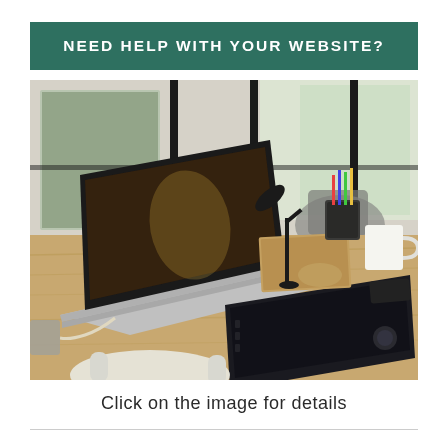NEED HELP WITH YOUR WEBSITE?
[Figure (photo): A wooden desk with an open MacBook laptop, a graphics tablet, a desk lamp, pencil holder with pens, a white mug, a smartphone, and white headphones in the foreground. The background shows large windows with blurred outdoor view and a grey chair.]
Click on the image for details